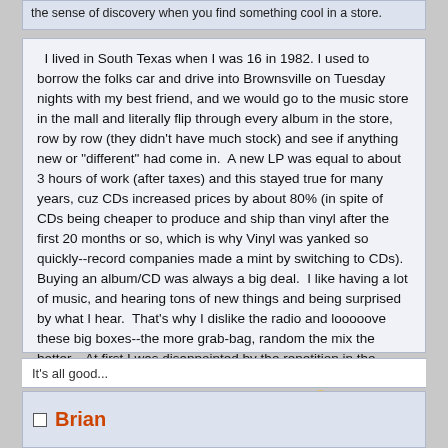the sense of discovery when you find something cool in a store.
I lived in South Texas when I was 16 in 1982. I used to borrow the folks car and drive into Brownsville on Tuesday nights with my best friend, and we would go to the music store in the mall and literally flip through every album in the store, row by row (they didn't have much stock) and see if anything new or "different" had come in. A new LP was equal to about 3 hours of work (after taxes) and this stayed true for many years, cuz CDs increased prices by about 80% (in spite of CDs being cheaper to produce and ship than vinyl after the first 20 months or so, which is why Vinyl was yanked so quickly--record companies made a mint by switching to CDs). Buying an album/CD was always a big deal. I like having a lot of music, and hearing tons of new things and being surprised by what I hear. That's why I dislike the radio and looooove these big boxes--the more grab-bag, random the mix the better. At first I was disappointed by the repetition in the repertoire (not another Beethoven/Brahms/Mahler/Mendelssohn cyle 😳) but then came the Mercury, Teldec, Erato, and Early Music and Baroque boxes, all this Harmonia Mundi and Vivarte. It's a dream come true for me.
Logged
It's all good...
Brian